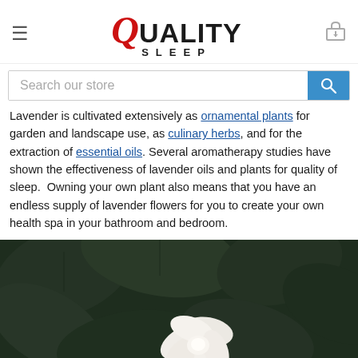Quality Sleep — site header with hamburger menu, logo, and cart icon
Search our store
Lavender is cultivated extensively as ornamental plants for garden and landscape use, as culinary herbs, and for the extraction of essential oils. Several aromatherapy studies have shown the effectiveness of lavender oils and plants for quality of sleep. Owning your own plant also means that you have an endless supply of lavender flowers for you to create your own health spa in your bathroom and bedroom.
[Figure (photo): Close-up photograph of a white gardenia flower with large dark green leaves in the background]